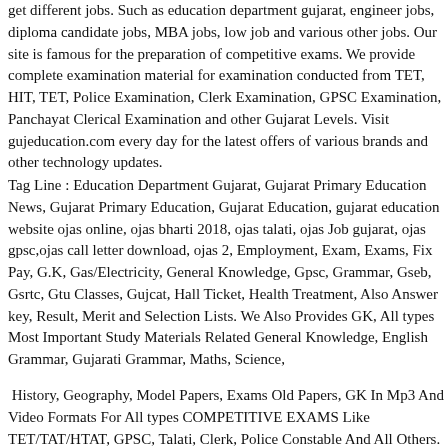get different jobs. Such as education department gujarat, engineer jobs, diploma candidate jobs, MBA jobs, low job and various other jobs. Our site is famous for the preparation of competitive exams. We provide complete examination material for examination conducted from TET, HIT, TET, Police Examination, Clerk Examination, GPSC Examination, Panchayat Clerical Examination and other Gujarat Levels. Visit gujeducation.com every day for the latest offers of various brands and other technology updates.
Tag Line : Education Department Gujarat, Gujarat Primary Education News, Gujarat Primary Education, Gujarat Education, gujarat education website ojas online, ojas bharti 2018, ojas talati, ojas Job gujarat, ojas gpsc,ojas call letter download, ojas 2, Employment, Exam, Exams, Fix Pay, G.K, Gas/Electricity, General Knowledge, Gpsc, Grammar, Gseb, Gsrtc, Gtu Classes, Gujcat, Hall Ticket, Health Treatment, Also Answer key, Result, Merit and Selection Lists. We Also Provides GK, All types Most Important Study Materials Related General Knowledge, English Grammar, Gujarati Grammar, Maths, Science,
History, Geography, Model Papers, Exams Old Papers, GK In Mp3 And Video Formats For All types COMPETITIVE EXAMS Like TET/TAT/HTAT, GPSC, Talati, Clerk, Police Constable And All Others. Also Good Study materials for Primary, secondary and